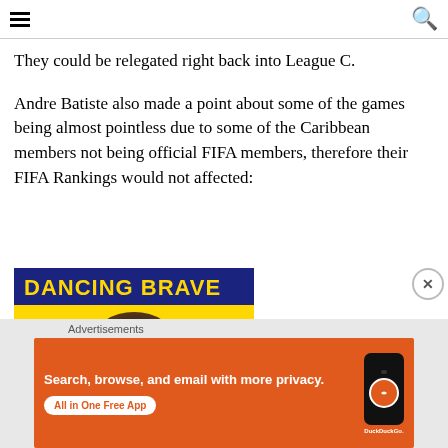They could be relegated right back into League C.
Andre Batiste also made a point about some of the games being almost pointless due to some of the Caribbean members not being official FIFA members, therefore their FIFA Rankings would not affected:
[Figure (illustration): Partial advertisement banner showing 'DANCING BRAVE' text in yellow on dark blue background with a partially visible face below]
[Figure (advertisement): DuckDuckGo advertisement on orange background. Text: 'Search, browse, and email with more privacy. All in One Free App' with phone graphic and DuckDuckGo logo]